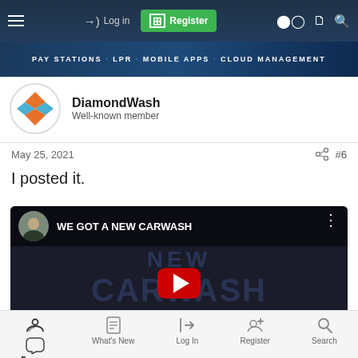Log in | Register | [icons]
[Figure (screenshot): Forum website banner showing PAY STATIONS · LPR · MOBILE APPS · CLOUD MANAGEMENT]
DiamondWash
Well-known member
May 25, 2021
#6
I posted it.
[Figure (screenshot): YouTube video thumbnail showing 'WE GOT A NEW CARWASH' with YouTube play button overlay and NEW CARWASH text in background]
Forums | What's New | Log In | Register | Search